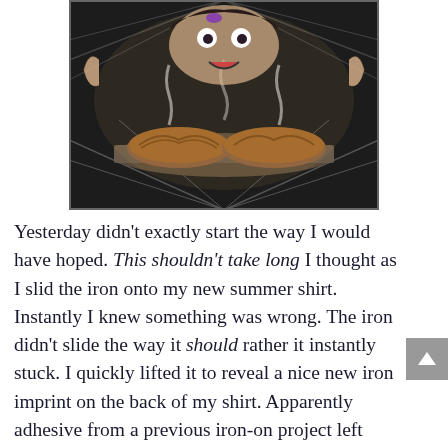[Figure (photo): A dramatic photo taken from inside an oven, showing two pies on a baking tray. A person's face is visible through the open oven door, hands raised in an expressive gesture with steam/smoke visible.]
Yesterday didn't exactly start the way I would have hoped. This shouldn't take long I thought as I slid the iron onto my new summer shirt. Instantly I knew something was wrong. The iron didn't slide the way it should rather it instantly stuck. I quickly lifted it to reveal a nice new iron imprint on the back of my shirt. Apparently adhesive from a previous iron-on project left residue behind, creating a not so lovely imprint. Sigh.